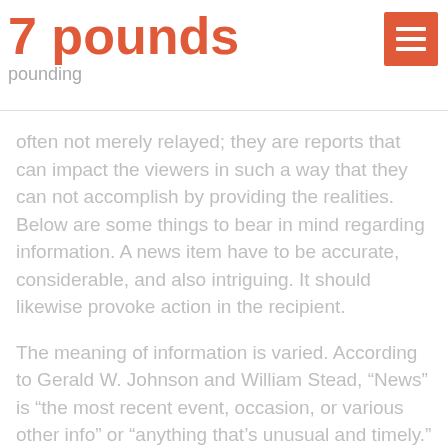7 pounds
pounding
often not merely relayed; they are reports that can impact the viewers in such a way that they can not accomplish by providing the realities. Below are some things to bear in mind regarding information. A news item have to be accurate, considerable, and also intriguing. It should likewise provoke action in the recipient.
The meaning of information is varied. According to Gerald W. Johnson and William Stead, “News” is “the most recent event, occasion, or various other info” or “anything that’s unusual and timely.” A news item must make the visitor state “Gee Whiz!”